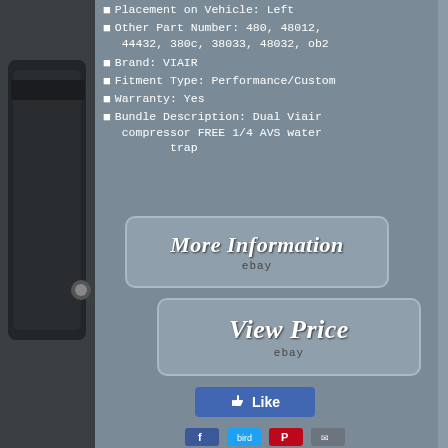[Figure (photo): Product photo of a black compressor bag/case on the left side of the page]
Placement on Vehicle: Left
Other Part Number: 480, 48012, 44432, 380c, 38033, 48032, ob2
Brand: VIAIR
Fitment Type: Performance/Custom
Warranty: Yes
Bundle Description: Dual Viair compressor FREE 1/4 AVS water trap
[Figure (screenshot): More Information button with eBay branding]
[Figure (screenshot): View Price button with eBay branding]
[Figure (screenshot): Facebook Like button]
[Figure (screenshot): Social sharing icons: Facebook, Twitter, Pinterest, Email]